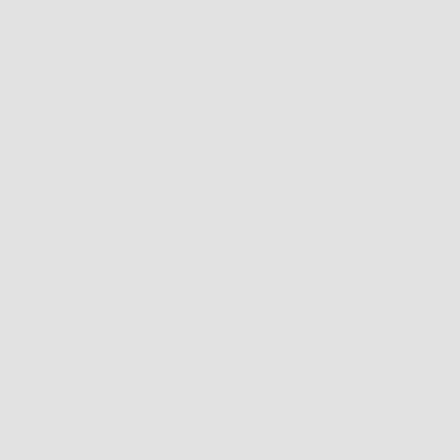French Bed
Mahogany Rice
[Figure (photo): Berkey Gay Burl Walnut Twin Bed - antique wooden bed with ornate carved headboard]
Berkey Gay Burl Walnut Twin Bed
[Figure (photo): Burl Walnut Decorated bed - antique wooden bed partial view]
Burl Walnut Deco
[Figure (photo): Paint Decorated Twin Bed - light painted wooden bed with cane panels]
Paint Decorated Twin Bed
[Figure (photo): Pair Berkey Walnut Twin beds - pair of antique walnut beds]
Pair Berkey Walnut Tw
[Figure (photo): Oak Twin Bed - antique oak bed with carved panel headboard]
Oak Twin Bed
[Figure (photo): Ornate Romyn Bed - ornate carved wooden bed]
Ornate Romy Be